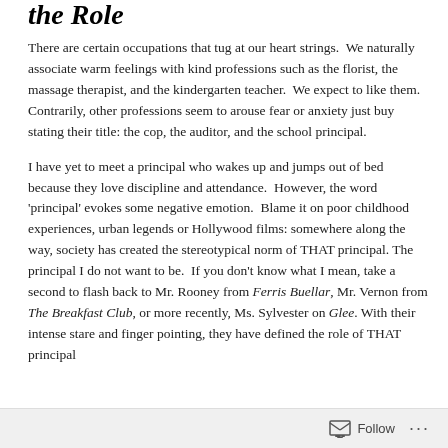the Role
There are certain occupations that tug at our heart strings.  We naturally associate warm feelings with kind professions such as the florist, the massage therapist, and the kindergarten teacher.  We expect to like them.  Contrarily, other professions seem to arouse fear or anxiety just buy stating their title: the cop, the auditor, and the school principal.
I have yet to meet a principal who wakes up and jumps out of bed because they love discipline and attendance.  However, the word 'principal' evokes some negative emotion.  Blame it on poor childhood experiences, urban legends or Hollywood films: somewhere along the way, society has created the stereotypical norm of THAT principal. The principal I do not want to be.  If you don't know what I mean, take a second to flash back to Mr. Rooney from Ferris Buellar, Mr. Vernon from The Breakfast Club, or more recently, Ms. Sylvester on Glee. With their intense stare and finger pointing, they have defined the role of THAT principal
Follow ...